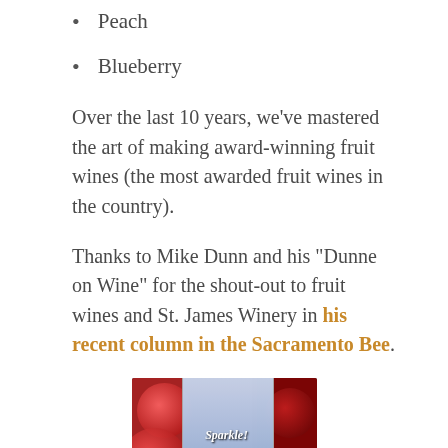Peach
Blueberry
Over the last 10 years, we've mastered the art of making award-winning fruit wines (the most awarded fruit wines in the country).
Thanks to Mike Dunn and his “Dunne on Wine” for the shout-out to fruit wines and St. James Winery in his recent column in the Sacramento Bee.
[Figure (photo): Photo of wine bottles labeled 'Sparkle!' and 'Cranberry' against a red bokeh background]
CRAN YOU SPARKLE?